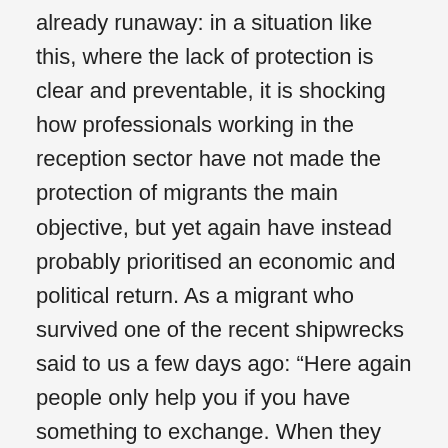already runaway: in a situation like this, where the lack of protection is clear and preventable, it is shocking how professionals working in the reception sector have not made the protection of migrants the main objective, but yet again have instead probably prioritised an economic and political return. As a migrant who survived one of the recent shipwrecks said to us a few days ago: “Here again people only help you if you have something to exchange. When they rescued me from the sea, it was my information for the investigations; at the centre my presence for money, my story for newspapers and publicity. I asked if I could call my family, and then I became invisible once more.”
Soon, various emergency structures for minors will open in the province of Ragusa, one of them in Pozzallo. The proposal for a redistribution of minors throughout the country and the possibility to entrust them to city councils other than those where they arrive, for the